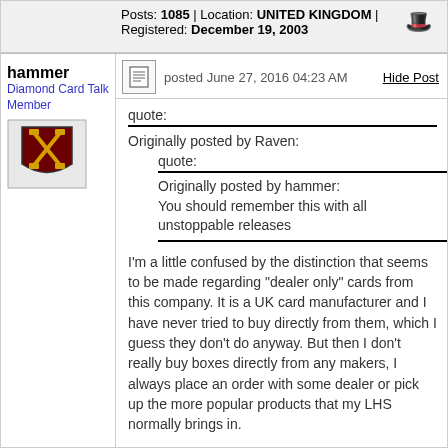Posts: 1085 | Location: UNITED KINGDOM | Registered: December 19, 2003
hammer
Diamond Card Talk Member
posted June 27, 2016 04:23 AM
Hide Post
quote:
Originally posted by Raven:
quote:
Originally posted by hammer:
You should remember this with all unstoppable releases
I'm a little confused by the distinction that seems to be made regarding "dealer only" cards from this company. It is a UK card manufacturer and I have never tried to buy directly from them, which I guess they don't do anyway. But then I don't really buy boxes directly from any makers, I always place an order with some dealer or pick up the more popular products that my LHS normally brings in.